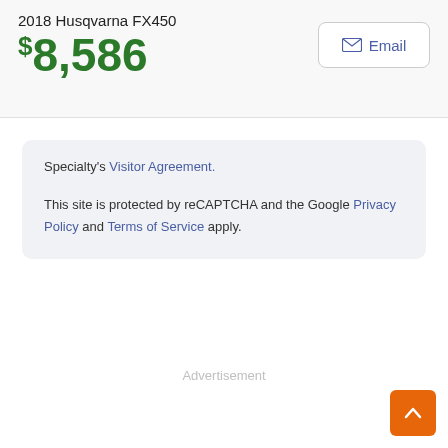2018 Husqvarna FX450
$8,586
Specialty's Visitor Agreement.
This site is protected by reCAPTCHA and the Google Privacy Policy and Terms of Service apply.
Advertisement